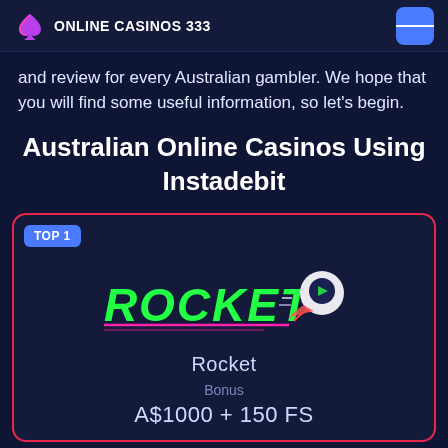ONLINE CASINOS 333
and review for every Australian gambler. We hope that you will find some useful information, so let's begin.
Australian Online Casinos Using Instadebit
[Figure (logo): Rocket Casino logo with animated rocket character and neon green/pink ROCKET text]
Rocket
Bonus
A$1000 + 150 FS